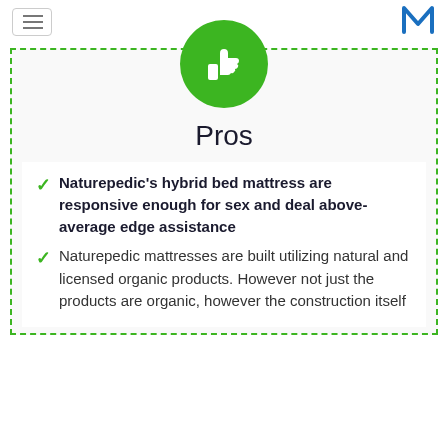≡  M
[Figure (illustration): Green circle with white thumbs-up icon]
Pros
Naturepedic's hybrid bed mattress are responsive enough for sex and deal above-average edge assistance
Naturepedic mattresses are built utilizing natural and licensed organic products. However not just the products are organic, however the construction itself